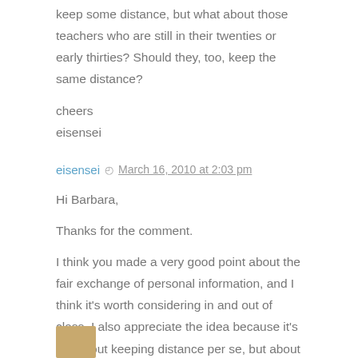keep some distance, but what about those teachers who are still in their twenties or early thirties? Should they, too, keep the same distance?
cheers
eisensei
eisensei  ◷ March 16, 2010 at 2:03 pm
Hi Barbara,
Thanks for the comment.
I think you made a very good point about the fair exchange of personal information, and I think it's worth considering in and out of class. I also appreciate the idea because it's not about keeping distance per se, but about making sure that everyone is involved fairly in the discussion.
Cheers,
eisensei